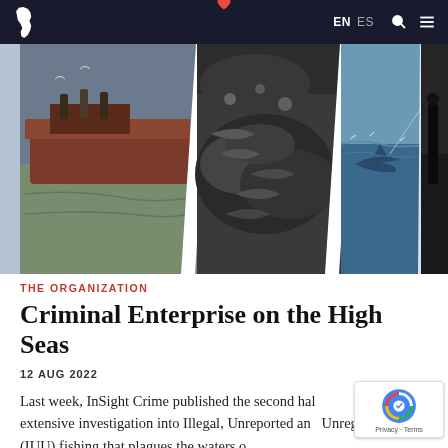InSight Crime — EN ES navigation bar with logo, search and menu icons
[Figure (photo): Four panel collage of fishing-related images: a fishing boat on murky water, a pile of dried fish/marine animals, a shark or large fish in blue water, and a dark silhouette scene.]
THE ORGANIZATION
Criminal Enterprise on the High Seas
12 AUG 2022
Last week, InSight Crime published the second half of its extensive investigation into Illegal, Unreported and Unregulated (IUU) fishing that plagues the waters of...